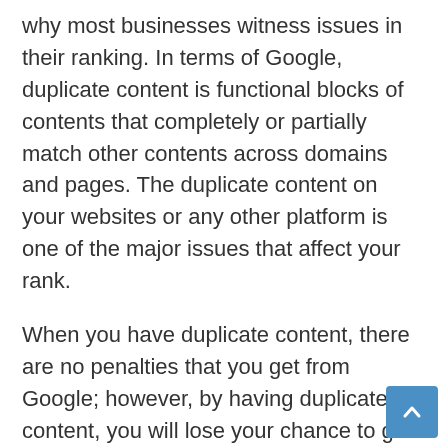why most businesses witness issues in their ranking. In terms of Google, duplicate content is functional blocks of contents that completely or partially match other contents across domains and pages. The duplicate content on your websites or any other platform is one of the major issues that affect your rank.
When you have duplicate content, there are no penalties that you get from Google; however, by having duplicate content, you will lose your chance to get to your potential consumers. Even if you have a great service and a good reputation, duplicate content can make your worst possible competitor get your leads. That is what you should always check. You can even modify and